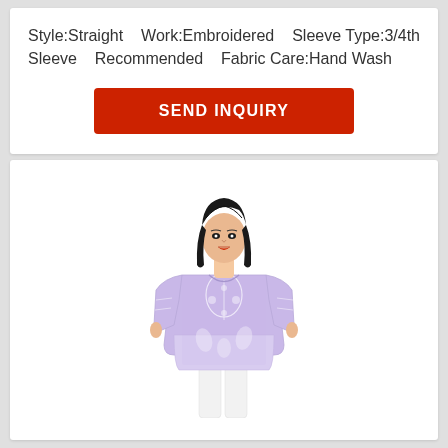Style:Straight Work:Embroidered Sleeve Type:3/4th Sleeve Recommended Fabric Care:Hand Wash
[Figure (other): Red 'SEND INQUIRY' call-to-action button]
[Figure (photo): A woman wearing a lavender/light purple embroidered straight kurta with 3/4th sleeves and white embroidery work, paired with white pants. She has long black hair.]